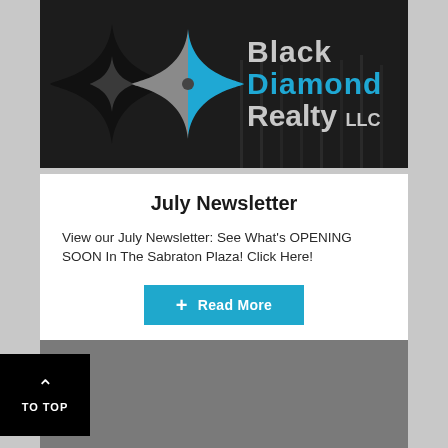[Figure (logo): Black Diamond Realty LLC logo on dark background with geometric diamond/star shape in black, grey and blue]
July Newsletter
View our July Newsletter: See What's OPENING SOON In The Sabraton Plaza! Click Here!
Read More
[Figure (other): Grey banner section at bottom of page]
TO TOP